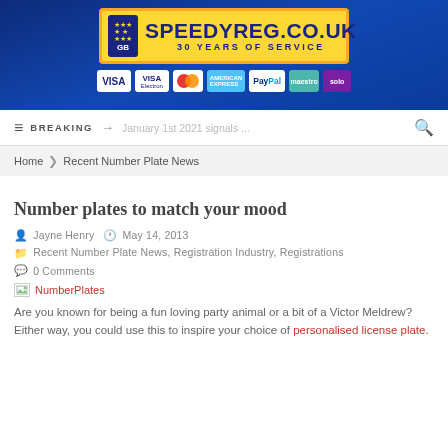[Figure (illustration): SpeedyReg.co.uk banner advertisement showing a yellow number plate logo with GB/EU symbol and '30 Years of Service' tagline, with payment method icons (Visa, Visa Electron, Mastercard, American Express, PayPal, Maestro, Solo) on a dark blue background.]
≡  BREAKING  →  January 1st 2021 signals ...  🔍
Home > Recent Number Plate News
Number plates to match your mood
Jayne Henry   May 14, 2013
Recent Number Plate News, Registration Industry, Registrations
0 Comments
[Figure (photo): Broken image link labeled 'NumberPlates']
Are you known for being a fun loving party animal or a bit of a Victor Meldrew? Either way, you could use this to inspire your choice of personalised license plate.